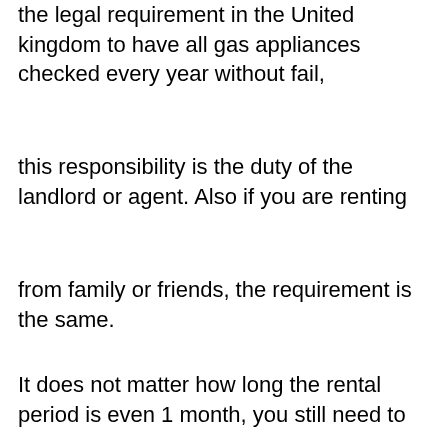the legal requirement in the United kingdom to have all gas appliances checked every year without fail,
this responsibility is the duty of the landlord or agent. Also if you are renting
from family or friends, the requirement is the same.
It does not matter how long the rental period is even 1 month, you still need to
have all gas appliances check over and a certificate issued.
The courts are handing out big fines to landlords